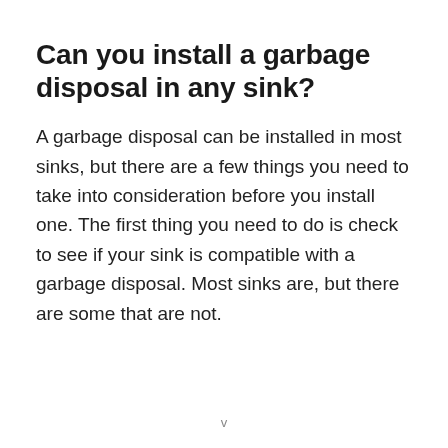Can you install a garbage disposal in any sink?
A garbage disposal can be installed in most sinks, but there are a few things you need to take into consideration before you install one. The first thing you need to do is check to see if your sink is compatible with a garbage disposal. Most sinks are, but there are some that are not.
v